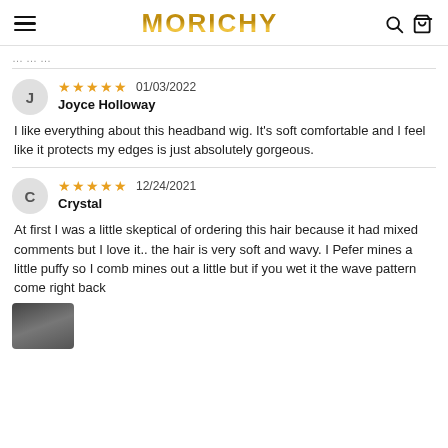MORICHY
I like everything about this headband wig. It's soft comfortable and I feel like it protects my edges is just absolutely gorgeous.
At first I was a little skeptical of ordering this hair because it had mixed comments but I love it.. the hair is very soft and wavy. I Pefer mines a little puffy so I comb mines out a little but if you wet it the wave pattern come right back
[Figure (photo): Partial photo thumbnail of a person at the bottom of the page]